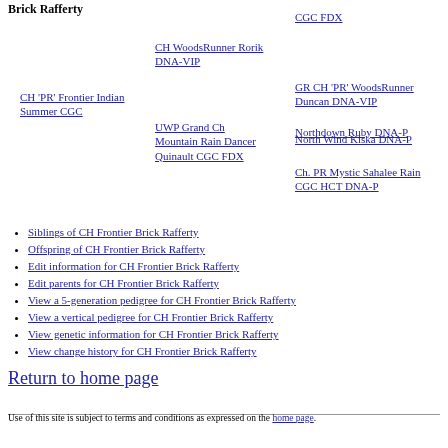Brick Rafferty
CH 'PR' Frontier Indian Summer CGC
CH WoodsRunner Rorik DNA-VIP
UWP Grand Ch Mountain Rain Dancer Quinault CGC FDX
CGC FDX
GR CH 'PR' WoodsRunner Duncan DNA-VIP
Northdown Ruby DNA-P
North Wind Kiska DNA-P
Ch. PR Mystic Sahalee Rain CGC HCT DNA-P
Siblings of CH Frontier Brick Rafferty
Offspring of CH Frontier Brick Rafferty
Edit information for CH Frontier Brick Rafferty
Edit parents for CH Frontier Brick Rafferty
View a 5-generation pedigree for CH Frontier Brick Rafferty
View a vertical pedigree for CH Frontier Brick Rafferty
View genetic information for CH Frontier Brick Rafferty
View change history for CH Frontier Brick Rafferty
Return to home page
Use of this site is subject to terms and conditions as expressed on the home page.